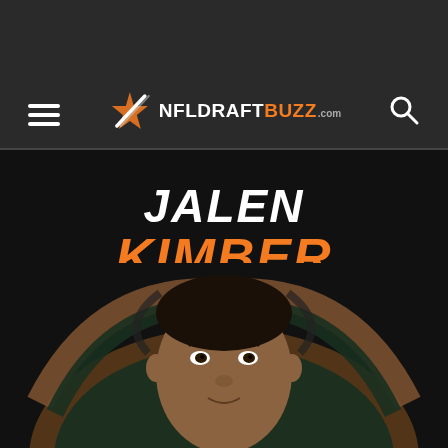NFLDraftBuzz.com navigation bar with hamburger menu and search icon
JALEN KIMBER
[Figure (photo): Photo of Jalen Kimber wearing a football helmet with a brown and dark green team logo (Mercer Bears), partially cropped showing face and top of helmet from the mid-face area]